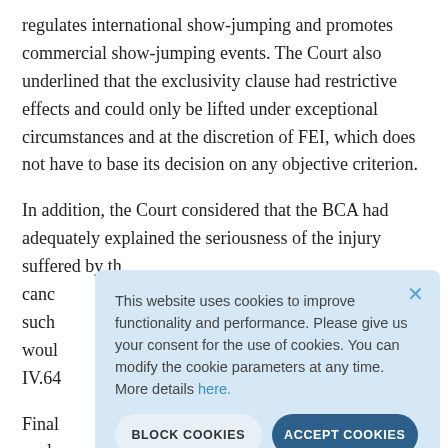regulates international show-jumping and promotes commercial show-jumping events. The Court also underlined that the exclusivity clause had restrictive effects and could only be lifted under exceptional circumstances and at the discretion of FEI, which does not have to base its decision on any objective criterion.
In addition, the Court considered that the BCA had adequately explained the seriousness of the injury suffered by th[e...] canc[ellation...] such[...] woul[d...] IV.64[...]
Final[ly...] exclu[sivity...]
[Figure (screenshot): Cookie consent popup overlay with light blue background. Text reads: 'This website uses cookies to improve functionality and performance. Please give us your consent for the use of cookies. You can modify the cookie parameters at any time. More details here.' Two buttons at bottom: 'BLOCK COOKIES' (light style) and 'ACCEPT COOKIES' (dark blue style). Close X button top right.]